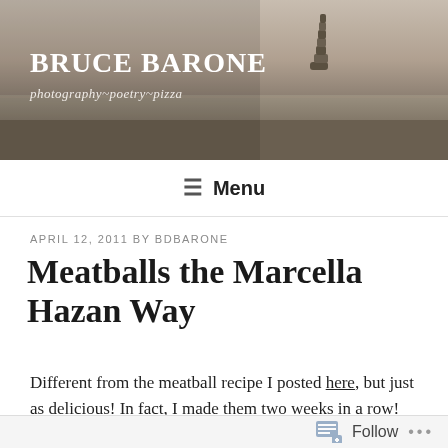[Figure (photo): Blog header banner with muted sepia-toned photograph of a rocky coastline with stacked stones, overlaid with site title and tagline text]
BRUCE BARONE
photography~poetry~pizza
≡ Menu
APRIL 12, 2011 BY BDBARONE
Meatballs the Marcella Hazan Way
Different from the meatball recipe I posted here, but just as delicious! In fact, I made them two weeks in a row!
[Figure (photo): Partial photo of food dish with red wine glass and green herbs/vegetables on a white plate]
Follow ...